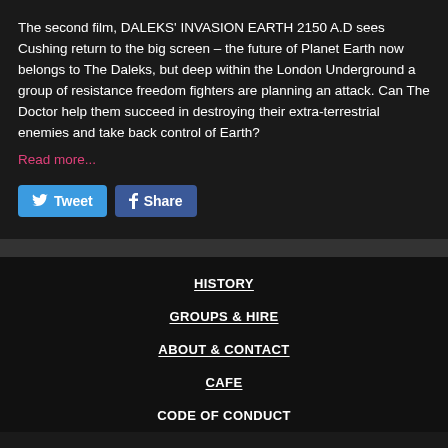The second film, DALEKS' INVASION EARTH 2150 A.D sees Cushing return to the big screen – the future of Planet Earth now belongs to The Daleks, but deep within the London Underground a group of resistance freedom fighters are planning an attack. Can The Doctor help them succeed in destroying their extra-terrestrial enemies and take back control of Earth?
Read more...
[Figure (other): Tweet and Share social media buttons (Twitter and Facebook)]
HISTORY | GROUPS & HIRE | ABOUT & CONTACT | CAFE | CODE OF CONDUCT